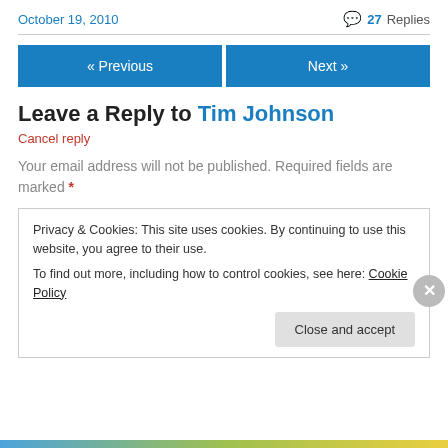October 19, 2010
💬 27 Replies
« Previous
Next »
Leave a Reply to Tim Johnson
Cancel reply
Your email address will not be published. Required fields are marked *
Privacy & Cookies: This site uses cookies. By continuing to use this website, you agree to their use.
To find out more, including how to control cookies, see here: Cookie Policy
Close and accept